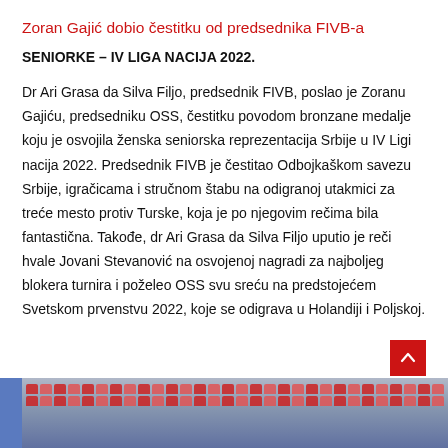Zoran Gajić dobio čestitku od predsednika FIVB-a
SENIORKE – IV LIGA NACIJA 2022.
Dr Ari Grasa da Silva Filjo, predsednik FIVB, poslao je Zoranu Gajiću, predsedniku OSS, čestitku povodom bronzane medalje koju je osvojila ženska seniorska reprezentacija Srbije u IV Ligi nacija 2022. Predsednik FIVB je čestitao Odbojkaškom savezu Srbije, igračicama i stručnom štabu na odigranoj utakmici za treće mesto protiv Turske, koja je po njegovim rečima bila fantastična. Takođe, dr Ari Grasa da Silva Filjo uputio je reči hvale Jovani Stevanović na osvojenoj nagradi za najboljeg blokera turnira i poželeo OSS svu sreću na predstojećem Svetskom prvenstvu 2022, koje se odigrava u Holandiji i Poljskoj.
[Figure (photo): Indoor sports arena with red stadium seats visible in background, people in foreground]